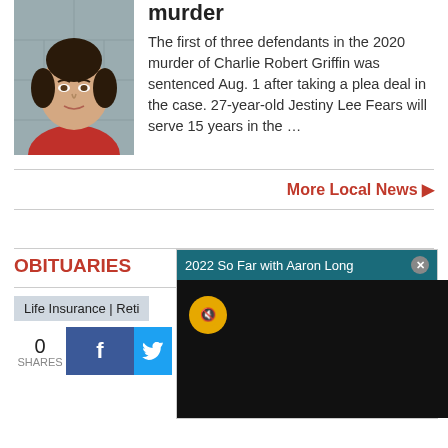[Figure (photo): Mugshot photo of young woman with dark hair in bun, wearing red shirt, against gray background]
murder
The first of three defendants in the 2020 murder of Charlie Robert Griffin was sentenced Aug. 1 after taking a plea deal in the case. 27-year-old Jestiny Lee Fears will serve 15 years in the …
More Local News ▶
OBITUARIES
Life Insurance | Reti
0
SHARES
[Figure (screenshot): Video overlay titled '2022 So Far with Aaron Long' with dark video screen showing mute button]